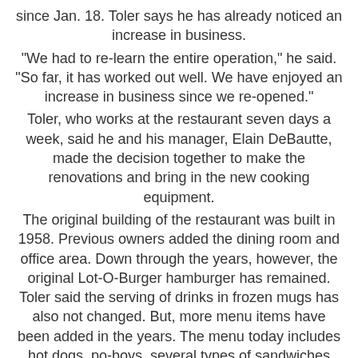since Jan. 18. Toler says he has already noticed an increase in business. "We had to re-learn the entire operation," he said. "So far, it has worked out well. We have enjoyed an increase in business since we re-opened." Toler, who works at the restaurant seven days a week, said he and his manager, Elain DeBautte, made the decision together to make the renovations and bring in the new cooking equipment. The original building of the restaurant was built in 1958. Previous owners added the dining room and office area. Down through the years, however, the original Lot-O-Burger hamburger has remained. Toler said the serving of drinks in frozen mugs has also not changed. But, more menu items have been added in the years. The menu today includes hot dogs, po-boys, several types of sandwiches and dinners. Toler says the full range of menu items accounts for the full range of people who frequent the restaurant. The menu suits the tastes from the very young to the adult one, he added. Toler and his wife, Evelyn (Terry), have three daughters, Terry, 11, Tiffany, 7, and Tracey, 3. Terry is already helping her father by busing tables. Evelyn